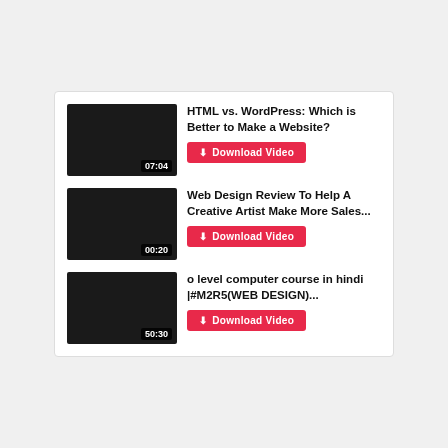[Figure (screenshot): Video thumbnail (black rectangle) with duration 07:04]
HTML vs. WordPress: Which is Better to Make a Website?
Download Video
[Figure (screenshot): Video thumbnail (black rectangle) with duration 00:20]
Web Design Review To Help A Creative Artist Make More Sales...
Download Video
[Figure (screenshot): Video thumbnail (black rectangle) with duration 50:30]
o level computer course in hindi |#M2R5(WEB DESIGN)...
Download Video